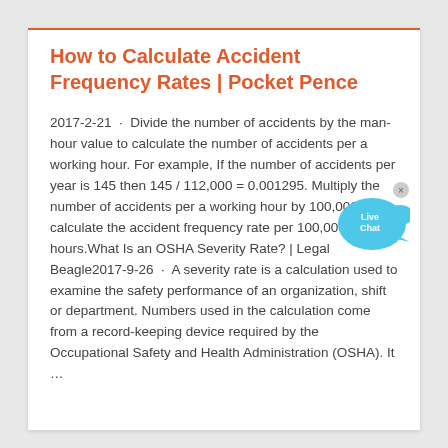How to Calculate Accident Frequency Rates | Pocket Pence
2017-2-21  ·  Divide the number of accidents by the man-hour value to calculate the number of accidents per a working hour. For example, If the number of accidents per year is 145 then 145 / 112,000 = 0.001295. Multiply the number of accidents per a working hour by 100,000 to calculate the accident frequency rate per 100,000 hours.What Is an OSHA Severity Rate? | Legal Beagle2017-9-26  ·  A severity rate is a calculation used to examine the safety performance of an organization, shift or department. Numbers used in the calculation come from a record-keeping device required by the Occupational Safety and Health Administration (OSHA). It …